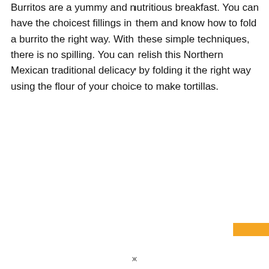Burritos are a yummy and nutritious breakfast. You can have the choicest fillings in them and know how to fold a burrito the right way. With these simple techniques, there is no spilling. You can relish this Northern Mexican traditional delicacy by folding it the right way using the flour of your choice to make tortillas.
[Figure (other): Small orange/amber colored rectangle in the bottom-right corner of the page.]
x